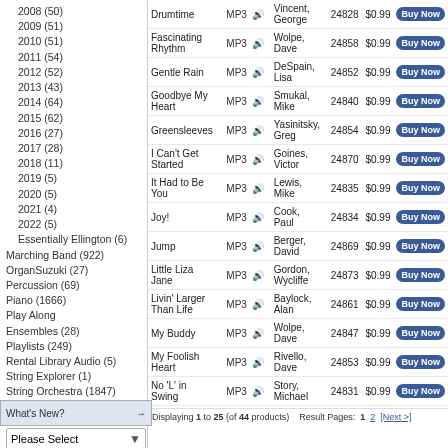2008 (50)
2009 (51)
2010 (51)
2011 (54)
2012 (52)
2013 (43)
2014 (64)
2015 (62)
2016 (27)
2017 (28)
2018 (11)
2019 (5)
2020 (5)
2021 (4)
2022 (5)
Essentially Ellington (6)
Marching Band (922)
OrganSuzuki (27)
Percussion (69)
Piano (1666)
Play Along Ensembles (28)
Playlists (249)
Rental Library Audio (5)
String Explorer (1)
String Orchestra (1847)
Authors
Please Select
Playlists
Please Select
| Title | Format | Artist | Item# | Price |  |
| --- | --- | --- | --- | --- | --- |
| Drumtime | MP3 | Vincent, George | 24828 | $0.99 | Buy Now |
| Fascinating Rhythm | MP3 | Wolpe, Dave | 24858 | $0.99 | Buy Now |
| Gentle Rain | MP3 | DeSpain, Lisa | 24852 | $0.99 | Buy Now |
| Goodbye My Heart | MP3 | Smukal, Mike | 24840 | $0.99 | Buy Now |
| Greensleeves | MP3 | Yasinitsky, Greg | 24854 | $0.99 | Buy Now |
| I Can't Get Started | MP3 | Goines, Victor | 24870 | $0.99 | Buy Now |
| It Had to Be You | MP3 | Lewis, Mike | 24835 | $0.99 | Buy Now |
| Joy! | MP3 | Cook, Paul | 24834 | $0.99 | Buy Now |
| Jump | MP3 | Berger, David | 24869 | $0.99 | Buy Now |
| Little Liza Jane | MP3 | Gordon, Wycliffe | 24873 | $0.99 | Buy Now |
| Livin' Larger Than Life | MP3 | Baylock, Alan | 24861 | $0.99 | Buy Now |
| My Buddy | MP3 | Wolpe, Dave | 24847 | $0.99 | Buy Now |
| My Foolish Heart | MP3 | Rivello, Dave | 24853 | $0.99 | Buy Now |
| No 'L' in Swing | MP3 | Story, Michael | 24831 | $0.99 | Buy Now |
Displaying 1 to 25 (of 44 products)  Result Pages: 1  2  [Next >]
you agree to Alfred Music's Cookies Policy, Privacy Policy, and Ter...